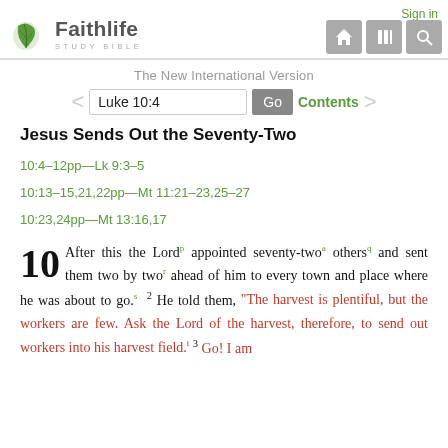Faithlife Study Bible — Sign in
The New International Version
Luke 10:4  Go  Contents
Jesus Sends Out the Seventy-Two
10:4–12pp—Lk 9:3–5
10:13–15,21,22pp—Mt 11:21–23,25–27
10:23,24pp—Mt 13:16,17
10 After this the Lord appointed seventy-two others and sent them two by two ahead of him to every town and place where he was about to go. 2 He told them, "The harvest is plentiful, but the workers are few. Ask the Lord of the harvest, therefore, to send out workers into his harvest field. 3 Go! I am